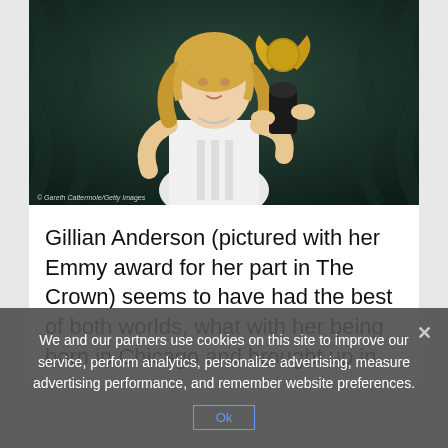[Figure (photo): Gillian Anderson holding an Emmy award trophy, wearing a white sleeveless dress, standing in front of dark green curtains. Photo credit: © Gareth Cattermole/Getty Images]
© Gareth Cattermole/Getty Images
Gillian Anderson (pictured with her Emmy award for her part in The Crown) seems to have had the best of both worlds, what with her being born in Chicago and brought up in
We and our partners use cookies on this site to improve our service, perform analytics, personalize advertising, measure advertising performance, and remember website preferences.
OK